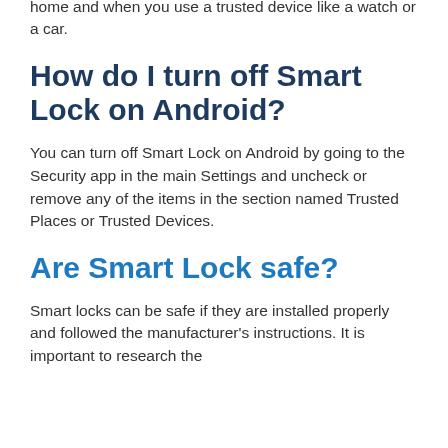home and when you use a trusted device like a watch or a car.
How do I turn off Smart Lock on Android?
You can turn off Smart Lock on Android by going to the Security app in the main Settings and uncheck or remove any of the items in the section named Trusted Places or Trusted Devices.
Are Smart Lock safe?
Smart locks can be safe if they are installed properly and followed the manufacturer's instructions. It is important to research the